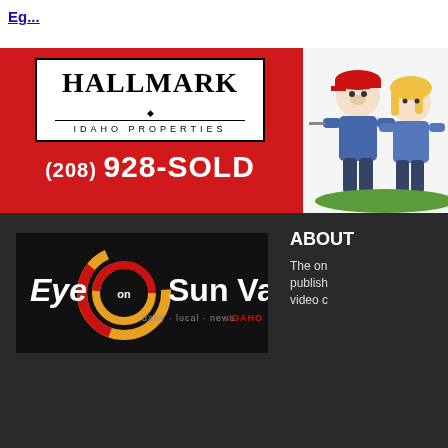[Figure (logo): Blue underlined hyperlink text at top (partially visible)]
[Figure (logo): Hallmark Idaho Properties advertisement banner with red background, white logo box, and phone number (208) 928-SOLD]
[Figure (illustration): Cartoon caricature of two people, partially cropped on right side]
[Figure (logo): Eye on Sun Valley logo - daily local news Idaho, on dark background]
ABOUT
The on publish video c